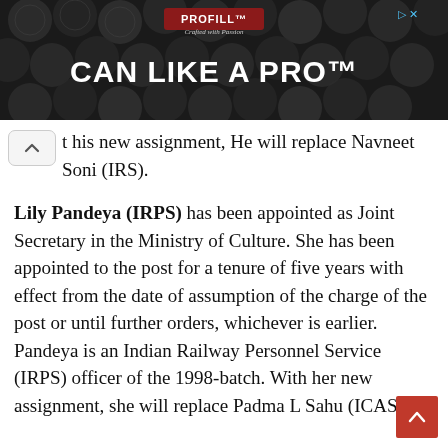[Figure (screenshot): Advertisement banner for PROFILL 'CAN LIKE A PRO' product, dark background with metallic cans, red close button with X in top right]
his new assignment, He will replace Navneet Soni (IRS).
Lily Pandeya (IRPS) has been appointed as Joint Secretary in the Ministry of Culture. She has been appointed to the post for a tenure of five years with effect from the date of assumption of the charge of the post or until further orders, whichever is earlier. Pandeya is an Indian Railway Personnel Service (IRPS) officer of the 1998-batch. With her new assignment, she will replace Padma L Sahu (ICAS).